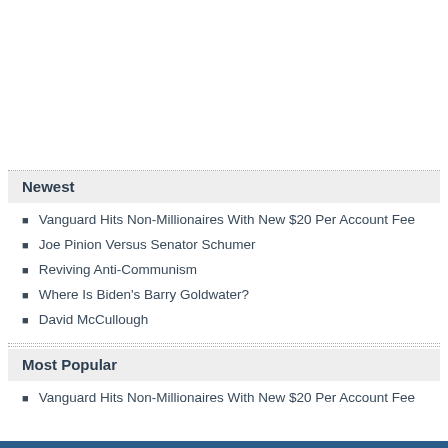Newest
Vanguard Hits Non-Millionaires With New $20 Per Account Fee
Joe Pinion Versus Senator Schumer
Reviving Anti-Communism
Where Is Biden's Barry Goldwater?
David McCullough
Most Popular
Vanguard Hits Non-Millionaires With New $20 Per Account Fee